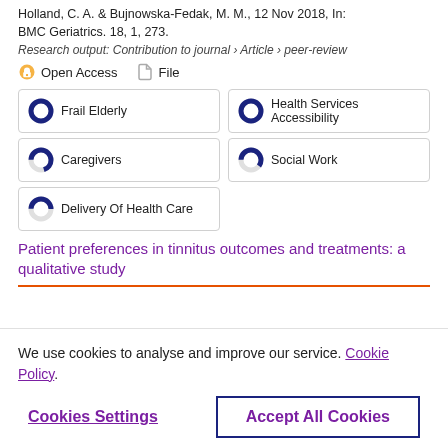Holland, C. A. & Bujnowska-Fedak, M. M., 12 Nov 2018, In: BMC Geriatrics. 18, 1, 273.
Research output: Contribution to journal › Article › peer-review
Open Access   File
100% Frail Elderly
100% Health Services Accessibility
70% Caregivers
60% Social Work
50% Delivery Of Health Care
Patient preferences in tinnitus outcomes and treatments: a qualitative study
We use cookies to analyse and improve our service. Cookie Policy
Cookies Settings
Accept All Cookies